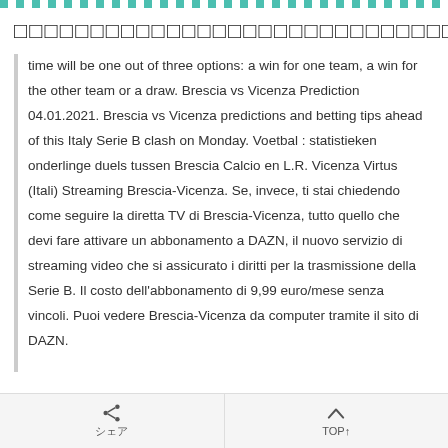□□□□□□□□□□□□□□□□□□□□□□□□□□□□□□□□□□
time will be one out of three options: a win for one team, a win for the other team or a draw. Brescia vs Vicenza Prediction 04.01.2021. Brescia vs Vicenza predictions and betting tips ahead of this Italy Serie B clash on Monday. Voetbal : statistieken onderlinge duels tussen Brescia Calcio en L.R. Vicenza Virtus (Itali) Streaming Brescia-Vicenza. Se, invece, ti stai chiedendo come seguire la diretta TV di Brescia-Vicenza, tutto quello che devi fare attivare un abbonamento a DAZN, il nuovo servizio di streaming video che si assicurato i diritti per la trasmissione della Serie B. Il costo dell'abbonamento di 9,99 euro/mese senza vincoli. Puoi vedere Brescia-Vicenza da computer tramite il sito di DAZN.
シェア　TOP↑